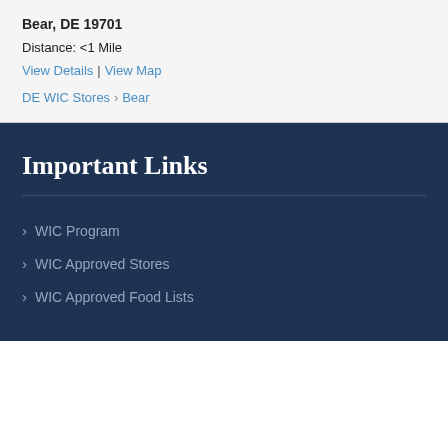Bear, DE 19701
Distance: <1 Mile
View Details | View Map
DE WIC Stores › Bear
Important Links
WIC Program
WIC Approved Stores
WIC Approved Food Lists